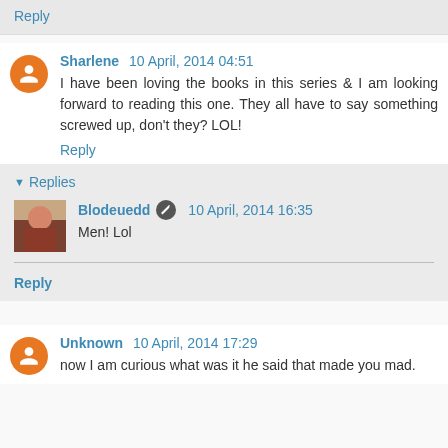Reply
Sharlene 10 April, 2014 04:51
I have been loving the books in this series & I am looking forward to reading this one. They all have to say something screwed up, don't they? LOL!
Reply
Replies
Blodeuedd 10 April, 2014 16:35
Men! Lol
Reply
Unknown 10 April, 2014 17:29
now I am curious what was it he said that made you mad.